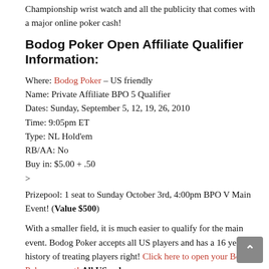Championship wrist watch and all the publicity that comes with a major online poker cash!
Bodog Poker Open Affiliate Qualifier Information:
Where: Bodog Poker – US friendly
Name: Private Affiliate BPO 5 Qualifier
Dates: Sunday, September 5, 12, 19, 26, 2010
Time: 9:05pm ET
Type: NL Hold'em
RB/AA: No
Buy in: $5.00 + .50
>
Prizepool: 1 seat to Sunday October 3rd, 4:00pm BPO V Main Event! (Value $500)
With a smaller field, it is much easier to qualify for the main event. Bodog Poker accepts all US players and has a 16 year history of treating players right! Click here to open your Bodog Poker account! All US poker